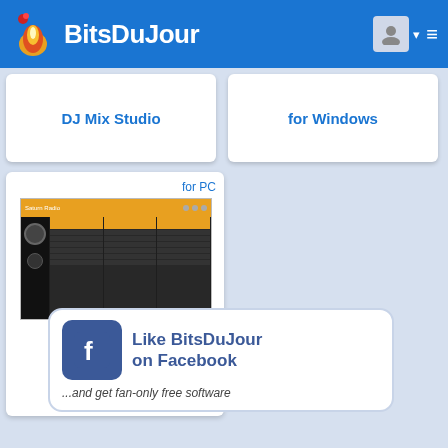BitsDuJour
DJ Mix Studio
for Windows
[Figure (screenshot): Saturn Radio application screenshot showing dark UI with orange header and multiple columns]
for PC
Saturn Radio
[Figure (infographic): Facebook Like banner with text: Like BitsDuJour on Facebook ...and get fan-only free software]